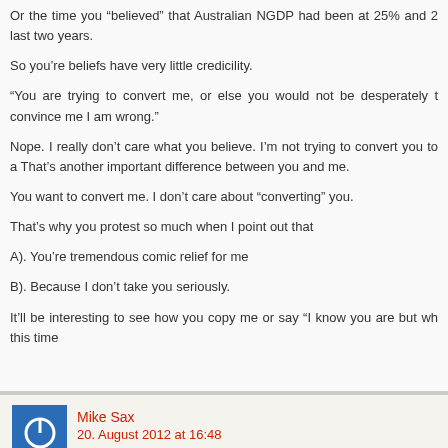Or the time you “believed” that Australian NGDP had been at 25% and 2 last two years.
So you’re beliefs have very little credicility.
“You are trying to convert me, or else you would not be desperately t convince me I am wrong.”
Nope. I really don’t care what you believe. I’m not trying to convert you to a That’s another important difference between you and me.
You want to convert me. I don’t care about “converting” you.
That’s why you protest so much when I point out that
A). You’re tremendous comic relief for me
B). Because I don’t take you seriously.
It’ll be interesting to see how you copy me or say “I know you are but wh this time
Mike Sax
20. August 2012 at 16:48
“I am talking about others who are abused, those you want abused so th